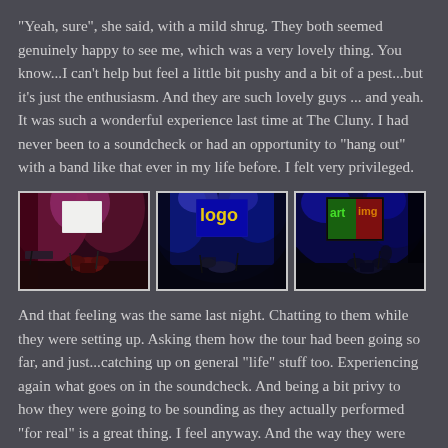“Yeah, sure”, she said, with a mild shrug. They both seemed genuinely happy to see me, which was a very lovely thing. You know...I can’t help but feel a little bit pushy and a bit of a pest...but it’s just the enthusiasm. And they are such lovely guys ... and yeah. It was such a wonderful experience last time at The Cluny. I had never been to a soundcheck or had an opportunity to “hang out” with a band like that ever in my life before. I felt very privileged.
[Figure (photo): Three concert stage photos showing drum kits and stage lighting in a dark venue]
And that feeling was the same last night. Chatting to them while they were setting up. Asking them how the tour had been going so far, and just...catching up on general “life” stuff too. Experiencing again what goes on in the soundcheck. And being a bit privy to how they were going to be sounding as they actually performed “for real” is a great thing. I feel anyway. And the way they were sounding